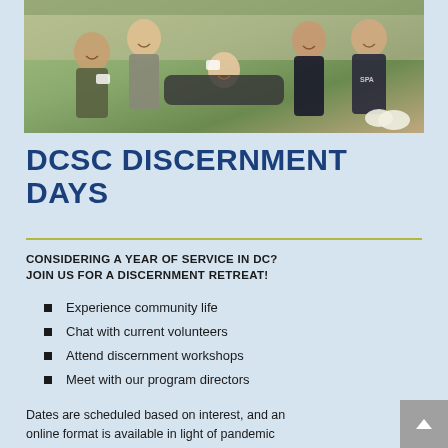[Figure (photo): Group photo of smiling young people at a social event, some wearing name tags, gathered closely together indoors.]
DCSC DISCERNMENT DAYS
CONSIDERING A YEAR OF SERVICE IN DC? JOIN US FOR A DISCERNMENT RETREAT!
Experience community life
Chat with current volunteers
Attend discernment workshops
Meet with our program directors
Dates are scheduled based on interest, and an online format is available in light of pandemic